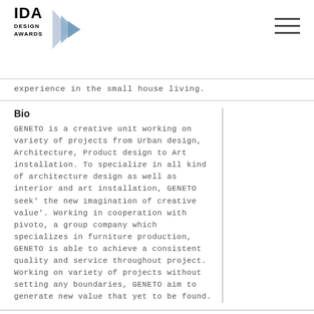[Figure (logo): IDA Design Awards logo with blue arrow graphic]
[Figure (illustration): Hamburger menu icon (three horizontal lines)]
experience in the small house living.
Bio
GENETO is a creative unit working on variety of projects from Urban design, Architecture, Product design to Art installation. To specialize in all kind of architecture design as well as interior and art installation, GENETO seek' the new imagination of creative value'. Working in cooperation with pivoto, a group company which specializes in furniture production, GENETO is able to achieve a consistent quality and service throughout project. Working on variety of projects without setting any boundaries, GENETO aim to generate new value that yet to be found.
Awards and Prize
2001    OPUS DESIGN AWARD
2008    The 2nd EBISU BIENNALE/ Encouraging prize
2008    Good Design Awards
2008    abita Furniture Design Competition/ Encouraging Prize
2009    ICD Design Award 2009